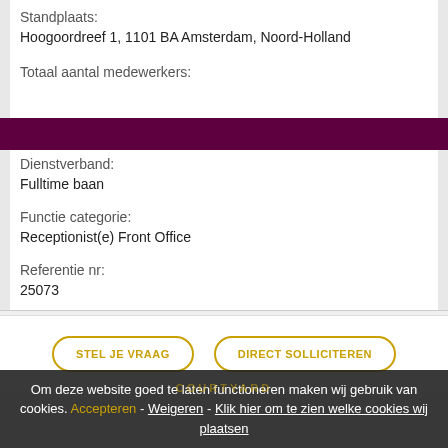Standplaats:
Hoogoordreef 1, 1101 BA Amsterdam, Noord-Holland
Totaal aantal medewerkers:
Dienstverband:
Fulltime baan
Functie categorie:
Receptionist(e) Front Office
Referentie nr:
25073
Geplaatst op:
14-07-2022
STEL JE VRAAG
DIRECT SOLLICITEREN
Om deze website goed te laten functioneren maken wij gebruik van cookies. Accepteren - Weigeren - Klik hier om te zien welke cookies wij plaatsen